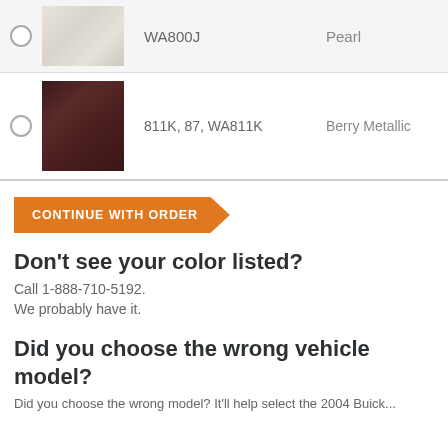[Figure (photo): Pearl color swatch with code WA800J and color name Pearl]
WA800J
Pearl
[Figure (photo): Berry Metallic color swatch with code 811K, 87, WA811K and color name Berry Metallic]
811K, 87, WA811K
Berry Metallic
CONTINUE WITH ORDER
Don't see your color listed?
Call 1-888-710-5192.
We probably have it.
Did you choose the wrong vehicle model?
Did you choose the wrong model? It'll help select the 2004 Buick...